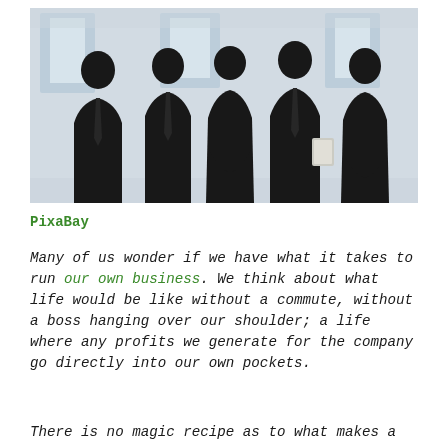[Figure (photo): Silhouettes of five business professionals (men and women) standing in an office environment with bright windows in the background]
PixaBay
Many of us wonder if we have what it takes to run our own business. We think about what life would be like without a commute, without a boss hanging over our shoulder; a life where any profits we generate for the company go directly into our own pockets.
There is no magic recipe as to what makes a